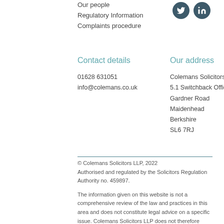Our people
Regulatory Information
Complaints procedure
[Figure (illustration): Twitter and LinkedIn social media icons (dark teal circles with white bird and 'in' logos)]
Contact details
Our address
01628 631051
info@colemans.co.uk
Colemans Solicitors LLP
5.1 Switchback Office Park
Gardner Road
Maidenhead
Berkshire
SL6 7RJ
© Colemans Solicitors LLP, 2022
Authorised and regulated by the Solicitors Regulation Authority no. 459897.

The information given on this website is not a comprehensive review of the law and practices in this area and does not constitute legal advice on a specific issue. Colemans Solicitors LLP does not therefore accept liability if you rely on or apply this information to your specific situation without taking bespoke